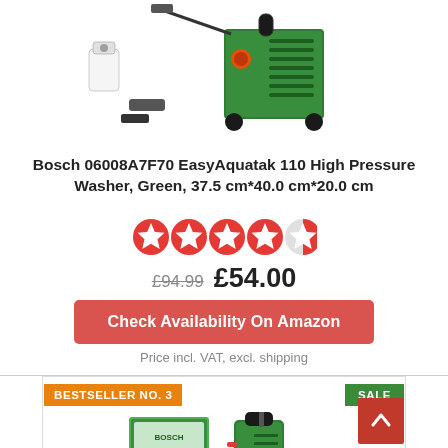[Figure (photo): Bosch pressure washer product image with accessories on white background]
Bosch 06008A7F70 EasyAquatak 110 High Pressure Washer, Green, 37.5 cm*40.0 cm*20.0 cm
[Figure (other): 4.5 out of 5 stars rating shown as red star icons]
£94.99  £54.00
Check Availability On Amazon
Price incl. VAT, excl. shipping
BESTSELLER NO. 3
SALE
[Figure (photo): Bosch pressure washer product image with box, bottom card section]